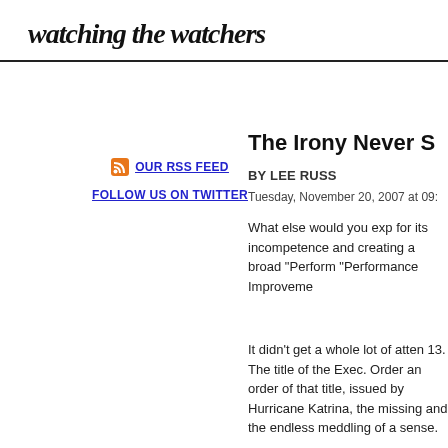watching the watchers
The Irony Never S
BY LEE RUSS
Tuesday, November 20, 2007 at 09:
What else would you exp for its incompetence and creating a broad "Perform "Performance Improveme
It didn't get a whole lot of atten 13. The title of the Exec. Order an order of that title, issued by Hurricane Katrina, the missing and the endless meddling of a sense.
OUR RSS FEED
FOLLOW US ON TWITTER